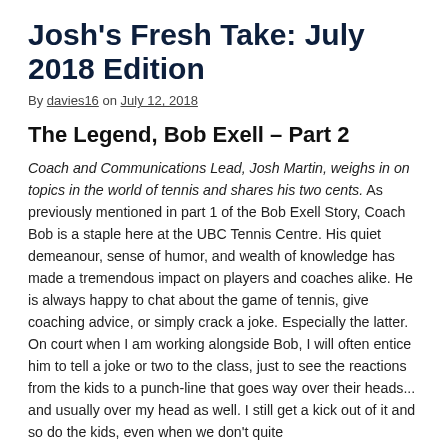Josh's Fresh Take: July 2018 Edition
By davies16 on July 12, 2018
The Legend, Bob Exell – Part 2
Coach and Communications Lead, Josh Martin, weighs in on topics in the world of tennis and shares his two cents. As previously mentioned in part 1 of the Bob Exell Story, Coach Bob is a staple here at the UBC Tennis Centre. His quiet demeanour, sense of humor, and wealth of knowledge has made a tremendous impact on players and coaches alike. He is always happy to chat about the game of tennis, give coaching advice, or simply crack a joke. Especially the latter.
On court when I am working alongside Bob, I will often entice him to tell a joke or two to the class, just to see the reactions from the kids to a punch-line that goes way over their heads... and usually over my head as well. I still get a kick out of it and so do the kids, even when we don't quite